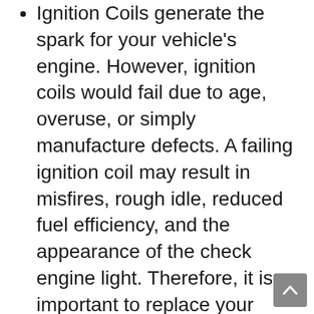Ignition Coils generate the spark for your vehicle's engine. However, ignition coils would fail due to age, overuse, or simply manufacture defects. A failing ignition coil may result in misfires, rough idle, reduced fuel efficiency, and the appearance of the check engine light. Therefore, it is important to replace your ignition coils as soon as your car starts showing these symptoms to improve the efficiency and drivability of your vehicle
Compatible with Lexus Toyota Lotus 2007-2016 ES350 3.5L V6; 2007-2015 RX350 3.5L V6; 2010-2015 RX450H 3.5L V6; 2005-2016 Avalon 3.5L V6;